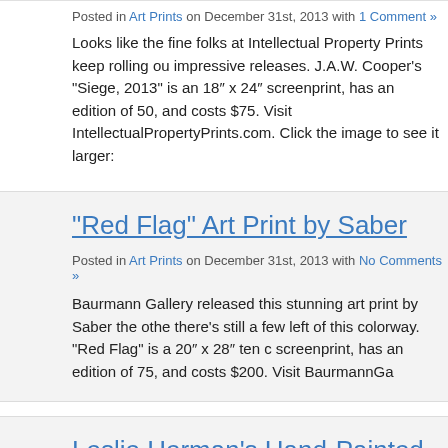Posted in Art Prints on December 31st, 2013 with 1 Comment »
Looks like the fine folks at Intellectual Property Prints keep rolling out impressive releases. J.A.W. Cooper's "Siege, 2013" is an 18" x 24" screenprint, has an edition of 50, and costs $75. Visit IntellectualPropertyPrints.com. Click the image to see it larger:
"Red Flag" Art Print by Saber
Posted in Art Prints on December 31st, 2013 with No Comments »
Baurmann Gallery released this stunning art print by Saber the other day; there's still a few left of this colorway. "Red Flag" is a 20" x 28" ten color screenprint, has an edition of 75, and costs $200. Visit BaurmannGa...
Leslie Herman's Hand-Painted King Krule Poster
Posted in Posters on December 31st, 2013 with 2 Comments »
I'm a huge King Krule fan, so I really, really love this new poster fro...